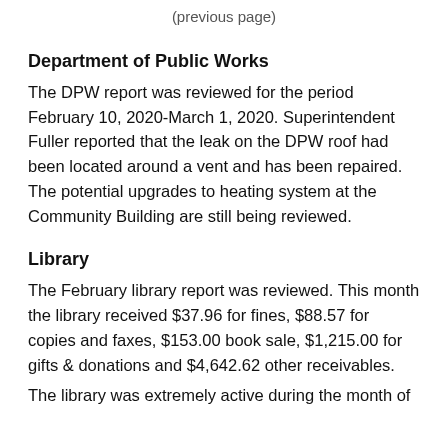(previous page)
Department of Public Works
The DPW report was reviewed for the period February 10, 2020-March 1, 2020. Superintendent Fuller reported that the leak on the DPW roof had been located around a vent and has been repaired. The potential upgrades to heating system at the Community Building are still being reviewed.
Library
The February library report was reviewed. This month the library received $37.96 for fines, $88.57 for copies and faxes, $153.00 book sale, $1,215.00 for gifts & donations and $4,642.62 other receivables.
The library was extremely active during the month of